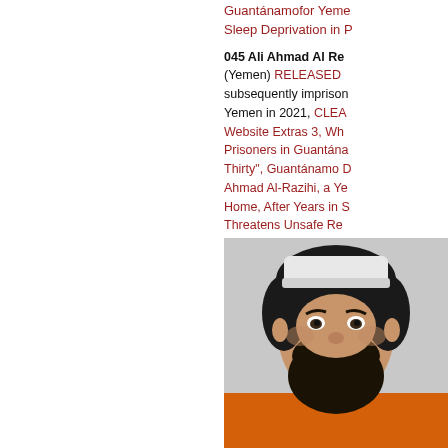Guantánamofor Yemen Sleep Deprivation in P [truncated links]
045 Ali Ahmad Al Re (Yemen) RELEASED subsequently imprisoned Yemen in 2021, CLEA Website Extras 3, Wh Prisoners in Guantána Thirty", Guantánamo D Ahmad Al-Razihi, a Ye Home, After Years in S Threatens Unsafe Re Former Guantánamo [truncated links]
[Figure (photo): Photograph of Ali Ahmad Al-Razihi, a Yemeni man with a full dark beard, curly hair, wearing a white knit cap and an orange garment, mugshot style.]